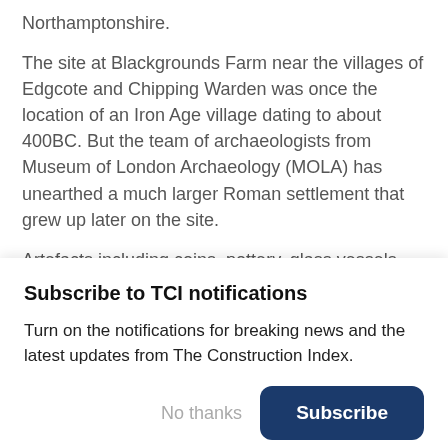Northamptonshire.
The site at Blackgrounds Farm near the villages of Edgcote and Chipping Warden was once the location of an Iron Age village dating to about 400BC. But the team of archaeologists from Museum of London Archaeology (MOLA) has unearthed a much larger Roman settlement that grew up later on the site.
Artefacts including coins, pottery, glass vessels and
Subscribe to TCI notifications
Turn on the notifications for breaking news and the latest updates from The Construction Index.
No thanks
Subscribe